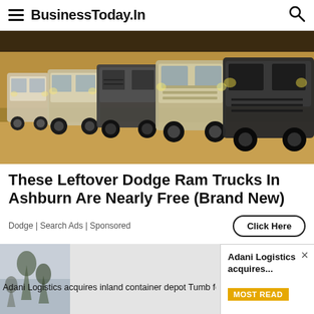BusinessToday.In
[Figure (photo): Several Dodge Ram trucks parked in a row in a dimly lit garage or barn, some covered with dark covers]
These Leftover Dodge Ram Trucks In Ashburn Are Nearly Free (Brand New)
Dodge | Search Ads | Sponsored
[Figure (photo): Outdoor scene with tree silhouette against grey sky - advertisement thumbnail for Adani Logistics]
Adani Logistics acquires inland container depot Tumb for Rs 835 cr
Adani Logistics acquires...
MOST READ